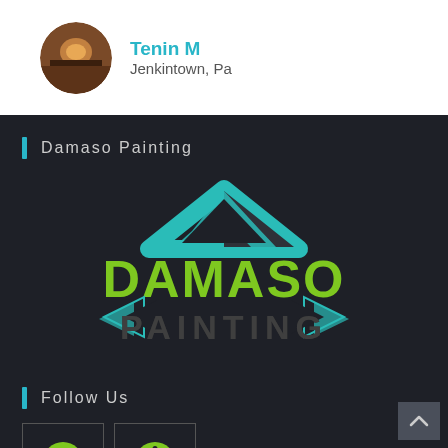[Figure (photo): Circular avatar photo of a user showing warm interior tones]
Tenin M
Jenkintown, Pa
Damaso Painting
[Figure (logo): Damaso Painting logo with teal roof shape, green bold DAMASO text, dark PAINTING text, and decorative arrow shapes on sides]
Follow Us
[Figure (illustration): Facebook icon (green circle with f) in a bordered box]
[Figure (illustration): Yelp icon (green asterisk/flower) in a bordered box]